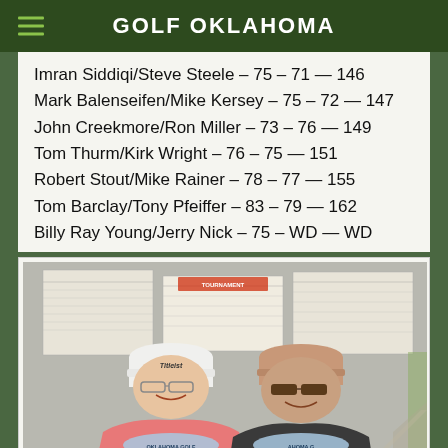GOLF OKLAHOMA
Imran Siddiqi/Steve Steele – 75 – 71 — 146
Mark Balenseifen/Mike Kersey – 75 – 72 — 147
John Creekmore/Ron Miller – 73 – 76 — 149
Tom Thurm/Kirk Wright – 76 – 75 — 151
Robert Stout/Mike Rainer – 78 – 77 — 155
Tom Barclay/Tony Pfeiffer – 83 – 79 — 162
Billy Ray Young/Jerry Nick – 75 – WD — WD
[Figure (photo): Two men standing in front of a golf tournament scoreboard, both smiling. Left man wearing pink polo and white Titleist cap, right man wearing dark jacket and tan cap with sunglasses. Both holding awards/plaques with 'Oklahoma Golf' text visible.]